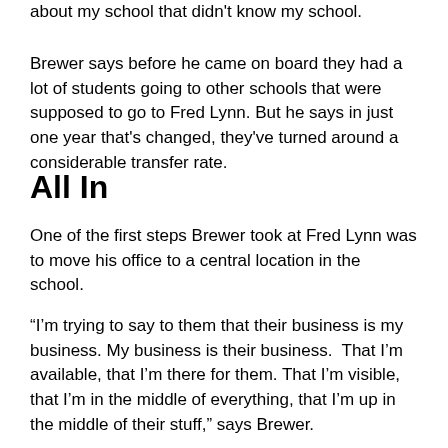about my school that didn't know my school.
Brewer says before he came on board they had a lot of students going to other schools that were supposed to go to Fred Lynn. But he says in just one year that's changed, they've turned around a considerable transfer rate.
All In
One of the first steps Brewer took at Fred Lynn was to move his office to a central location in the school.
“I’m trying to say to them that their business is my business. My business is their business.  That I’m available, that I’m there for them. That I’m visible, that I’m in the middle of everything, that I’m up in the middle of their stuff,” says Brewer.